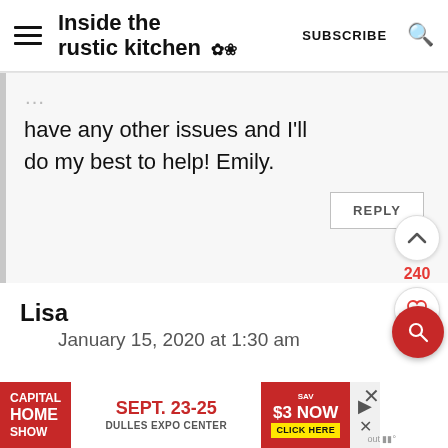Inside the rustic kitchen  SUBSCRIBE
have any other issues and I'll do my best to help! Emily.
REPLY
240
Lisa
January 15, 2020 at 1:30 am
[Figure (screenshot): Advertisement banner for Capital Home Show, Sept. 23-25, Dulles Expo Center, Save $3 Now, Click Here]